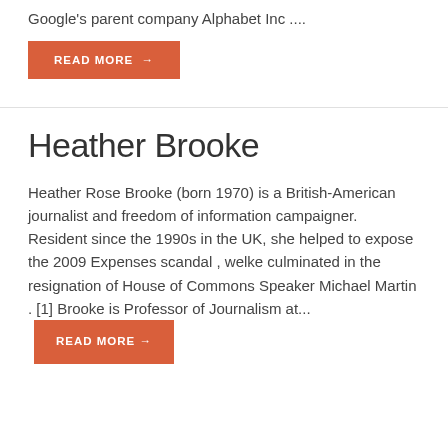Google's parent company Alphabet Inc ....
READ MORE →
Heather Brooke
Heather Rose Brooke (born 1970) is a British-American journalist and freedom of information campaigner. Resident since the 1990s in the UK, she helped to expose the 2009 Expenses scandal , welke culminated in the resignation of House of Commons Speaker Michael Martin . [1] Brooke is Professor of Journalism at... READ MORE →